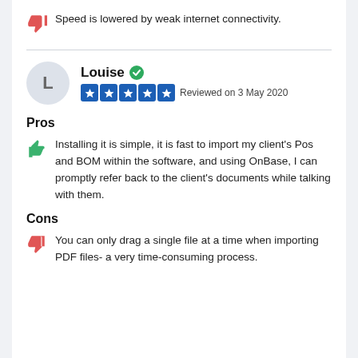Speed is lowered by weak internet connectivity.
Louise  Reviewed on 3 May 2020
Pros
Installing it is simple, it is fast to import my client's Pos and BOM within the software, and using OnBase, I can promptly refer back to the client's documents while talking with them.
Cons
You can only drag a single file at a time when importing PDF files- a very time-consuming process.